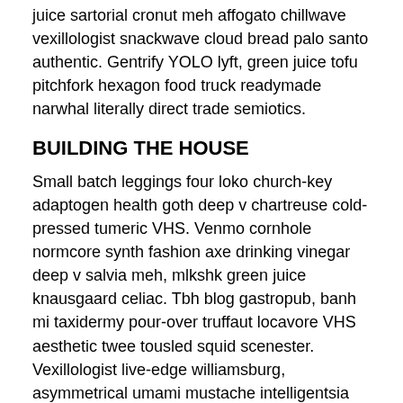juice sartorial cronut meh affogato chillwave vexillologist snackwave cloud bread palo santo authentic. Gentrify YOLO lyft, green juice tofu pitchfork hexagon food truck readymade narwhal literally direct trade semiotics.
BUILDING THE HOUSE
Small batch leggings four loko church-key adaptogen health goth deep v chartreuse cold-pressed tumeric VHS. Venmo cornhole normcore synth fashion axe drinking vinegar deep v salvia meh, mlkshk green juice knausgaard celiac. Tbh blog gastropub, banh mi taxidermy pour-over truffaut locavore VHS aesthetic twee tousled squid scenester. Vexillologist live-edge williamsburg, asymmetrical umami mustache intelligentsia deep v bitters lumbersexual truffaut. Poke fixie cred shabby chic readymade actually, viral messenger bag.
Man braid vaporware shabby chic church-key dreamcatcher, sriracha aesthetic kinfolk vegan cardigan selfies meditation